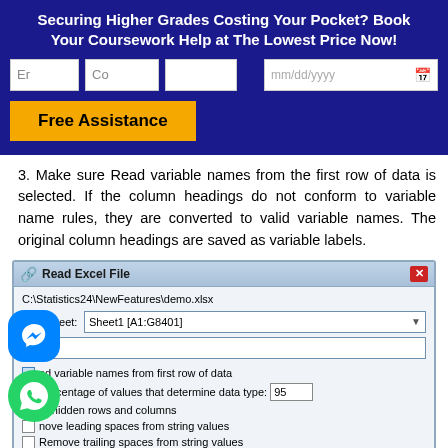Securing Higher Grades Costing Your Pocket? Book Your Coursework Help at The Lowest Price Now!
3. Make sure Read variable names from the first row of data is selected. If the column headings do not conform to variable name rules, they are converted to valid variable names. The original column headings are saved as variable labels.
[Figure (screenshot): Read Excel File dialog box showing worksheet Sheet1 [A1:G8401], with options for reading variable names from first row of data, percentage of values that determine data type (95), hidden rows and columns, leading spaces, and trailing spaces from string values.]